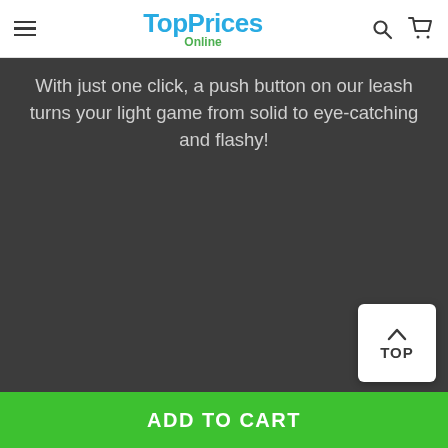TopPrices Online
With just one click, a push button on our leash turns your light game from solid to eye-catching and flashy!
TOP
ADD TO CART